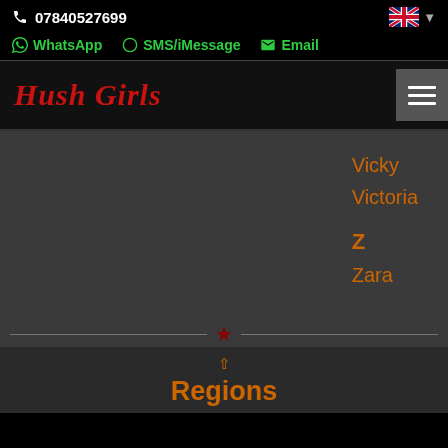07840527699
WhatsApp  SMS/iMessage  Email
Hush Girls
Vicky
Victoria
Z
Zara
Regions